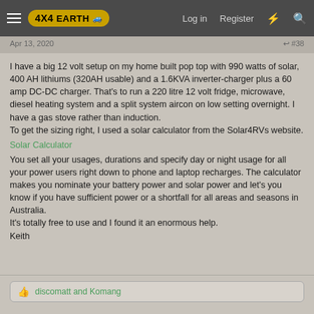4X4EARTH | Log in | Register
Apr 13, 2020 | #38
I have a big 12 volt setup on my home built pop top with 990 watts of solar, 400 AH lithiums (320AH usable) and a 1.6KVA inverter-charger plus a 60 amp DC-DC charger. That's to run a 220 litre 12 volt fridge, microwave, diesel heating system and a split system aircon on low setting overnight. I have a gas stove rather than induction.
To get the sizing right, I used a solar calculator from the Solar4RVs website.
Solar Calculator
You set all your usages, durations and specify day or night usage for all your power users right down to phone and laptop recharges. The calculator makes you nominate your battery power and solar power and let's you know if you have sufficient power or a shortfall for all areas and seasons in Australia.
It's totally free to use and I found it an enormous help.
Keith
discomatt and Komang